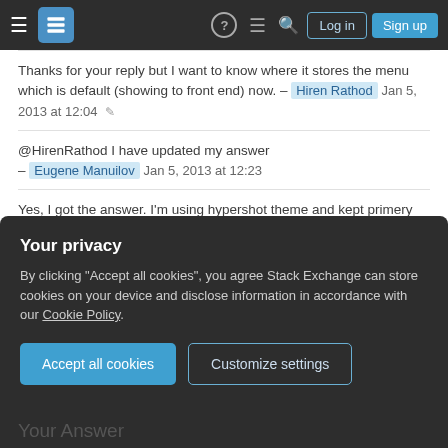Stack Exchange navigation bar with hamburger menu, logo, question mark, chat, search, Log in, Sign up
Thanks for your reply but I want to know where it stores the menu which is default (showing to front end) now. – Hiren Rathod  Jan 5, 2013 at 12:04
@HirenRathod I have updated my answer – Eugene Manuilov  Jan 5, 2013 at 12:23
Yes, I got the answer. I'm using hypershot theme and kept primery menu as test menu. It stores like this a:2:{i:0;b:0;s:18:"nav_menu_locations";a:2:{s:11:"header-menu";i:27;s:11:"footer-menu";i:0;}} Here i:27 means 27 is the term_id from wp_terms. Thanks @eugene-manuilov :) – Hiren Rathod  Jan 6, 2013 at 19:13
Your privacy
By clicking "Accept all cookies", you agree Stack Exchange can store cookies on your device and disclose information in accordance with our Cookie Policy.
Accept all cookies  Customize settings
Your Answer